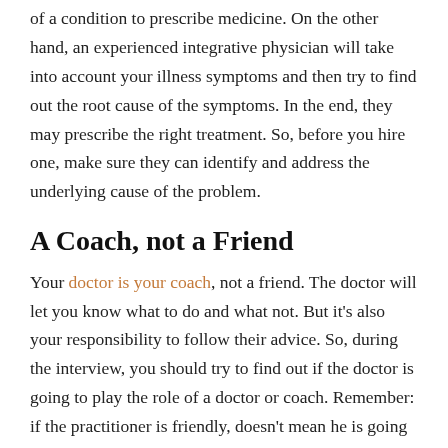of a condition to prescribe medicine. On the other hand, an experienced integrative physician will take into account your illness symptoms and then try to find out the root cause of the symptoms. In the end, they may prescribe the right treatment. So, before you hire one, make sure they can identify and address the underlying cause of the problem.
A Coach, not a Friend
Your doctor is your coach, not a friend. The doctor will let you know what to do and what not. But it's also your responsibility to follow their advice. So, during the interview, you should try to find out if the doctor is going to play the role of a doctor or coach. Remember: if the practitioner is friendly, doesn't mean he is going to act like a friend.